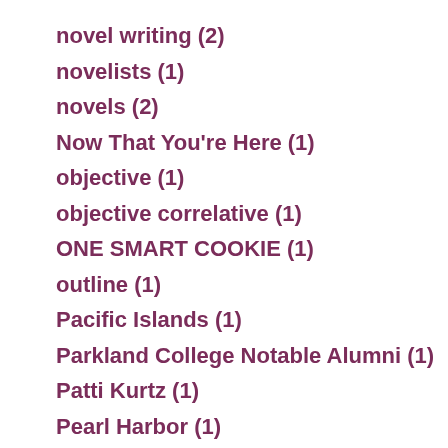novel writing (2)
novelists (1)
novels (2)
Now That You're Here (1)
objective (1)
objective correlative (1)
ONE SMART COOKIE (1)
outline (1)
Pacific Islands (1)
Parkland College Notable Alumni (1)
Patti Kurtz (1)
Pearl Harbor (1)
Pearl Harbor attack (1)
Philippine history (1)
photography (1)
photos (1)